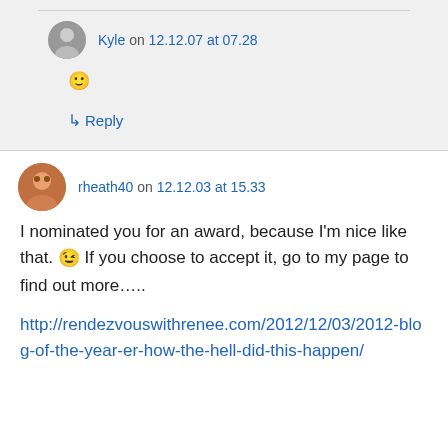Kyle on 12.12.07 at 07.28
🙂
↳ Reply
rheath40 on 12.12.03 at 15.33
I nominated you for an award, because I'm nice like that. 😉 If you choose to accept it, go to my page to find out more…..
http://rendezvouswithrenee.com/2012/12/03/2012-blog-of-the-year-er-how-the-hell-did-this-happen/